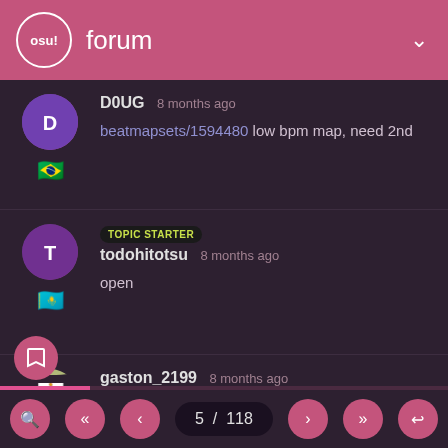osu! forum
DOUG 8 months ago
beatmapsets/1594480 low bpm map, need 2nd
TOPIC STARTER
todohitotsu 8 months ago
open
gaston_2199 8 months ago
Hi
old anime opening
beatmapsets/1613252
BlackBN has already accept it, hope you like it!
5 / 118